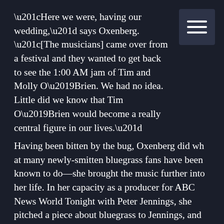“Here we were, having our wedding,” says Oxenberg. “[The musicians] came over from a festival and they wanted to get back to see the 1:00 AM jam of Tim and Molly O’Brien. We had no idea. Little did we know that Tim O’Brien would become a really central figure in our lives.”
Having been bitten by the bug, Oxenberg did wh at many newly-smitten bluegrass fans have been known to do—she brought the music further into her life. In her capacity as a producer for ABC News World Tonight with Peter Jennings, she pitched a piece about bluegrass to Jennings, and discovered that he, too, was a bluegrass fan. Jennings OK’d the story, which ran in September of 1996, but this being bluegrass and Oxenberg and Schumer being freshly-minted bluegrass fans, that was not the end, but the